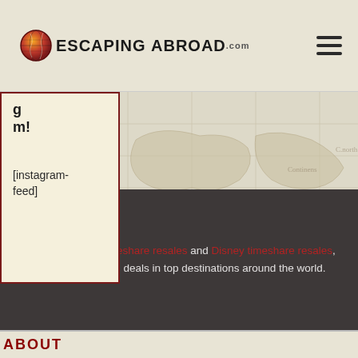[Figure (logo): Escaping Abroad website logo with globe icon]
[Figure (illustration): Vintage world map background with faded cartographic detail]
m!
[instagram-feed]
Shop Wyndham timeshare resales and Disney timeshare resales, online for amazing deals in top destinations around the world.
ABOUT